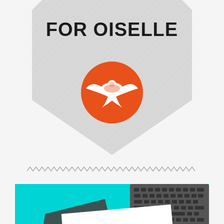[Figure (logo): Hexagonal badge shape with diagonal stripe texture, text 'FOR OISELLE' at top, and orange circle with white bird/swallow silhouette in center]
[Figure (illustration): Decorative zigzag/wavy separator line in gray]
[Figure (illustration): Flat lay illustration with teal/cyan background, dark gray card, white paper with teal line and text 'Tuesday', and laptop keyboard in top right corner]